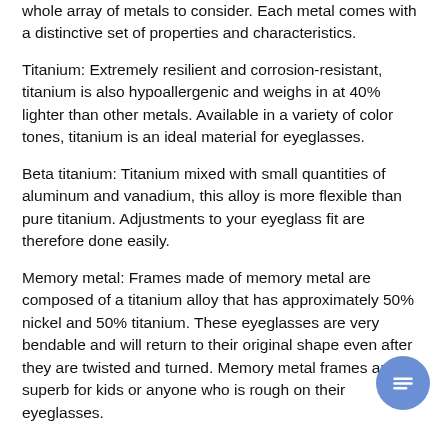whole array of metals to consider. Each metal comes with a distinctive set of properties and characteristics.
Titanium: Extremely resilient and corrosion-resistant, titanium is also hypoallergenic and weighs in at 40% lighter than other metals. Available in a variety of color tones, titanium is an ideal material for eyeglasses.
Beta titanium: Titanium mixed with small quantities of aluminum and vanadium, this alloy is more flexible than pure titanium. Adjustments to your eyeglass fit are therefore done easily.
Memory metal: Frames made of memory metal are composed of a titanium alloy that has approximately 50% nickel and 50% titanium. These eyeglasses are very bendable and will return to their original shape even after they are twisted and turned. Memory metal frames are superb for kids or anyone who is rough on their eyeglasses.
...